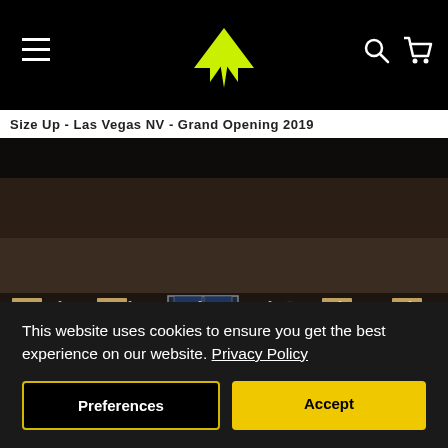[Figure (logo): Yellow winged logo (stylized wing emblem) in the center of a black navigation bar, with hamburger menu on left, search and cart icons on right]
Size Up - Las Vegas NV - Grand Opening 2019
[Figure (photo): Nighttime exterior photo of a retail store strip mall. Dark sky above a flat-roofed building with illuminated glass storefronts. A person visible inside through glass doors. Store numbers visible above doors.]
This website uses cookies to ensure you get the best experience on our website. Privacy Policy
Preferences
Accept